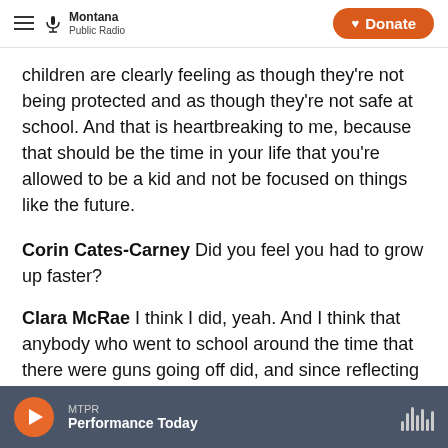Montana Public Radio | Donate
children are clearly feeling as though they're not being protected and as though they're not safe at school. And that is heartbreaking to me, because that should be the time in your life that you're allowed to be a kid and not be focused on things like the future.
Corin Cates-Carney Did you feel you had to grow up faster?
Clara McRae I think I did, yeah. And I think that anybody who went to school around the time that there were guns going off did, and since reflecting
MTPR Performance Today